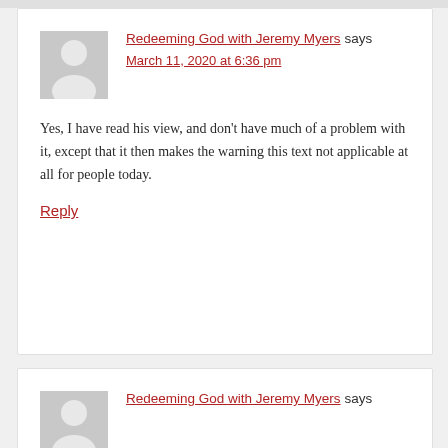Redeeming God with Jeremy Myers says
March 11, 2020 at 6:36 pm

Yes, I have read his view, and don't have much of a problem with it, except that it then makes the warning this text not applicable at all for people today.

Reply
Redeeming God with Jeremy Myers says